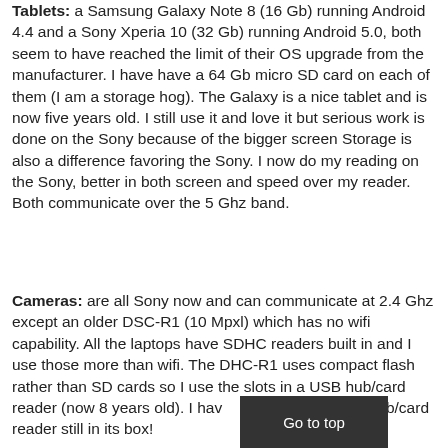Tablets: a Samsung Galaxy Note 8 (16 Gb) running Android 4.4 and a Sony Xperia 10 (32 Gb) running Android 5.0, both seem to have reached the limit of their OS upgrade from the manufacturer. I have have a 64 Gb micro SD card on each of them (I am a storage hog). The Galaxy is a nice tablet and is now five years old. I still use it and love it but serious work is done on the Sony because of the bigger screen Storage is also a difference favoring the Sony. I now do my reading on the Sony, better in both screen and speed over my reader. Both communicate over the 5 Ghz band.
Cameras: are all Sony now and can communicate at 2.4 Ghz except an older DSC-R1 (10 Mpxl) which has no wifi capability. All the laptops have SDHC readers built in and I use those more than wifi. The DHC-R1 uses compact flash rather than SD cards so I use the slots in a USB hub/card reader (now 8 years old). I have a replacement hub/card reader still in its box!